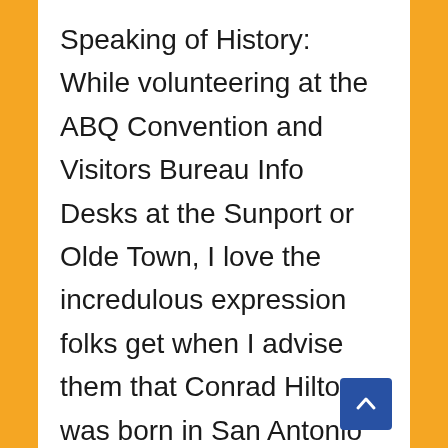Speaking of History: While volunteering at the ABQ Convention and Visitors Bureau Info Desks at the Sunport or Olde Town, I love the incredulous expression folks get when I advise them that Conrad Hilton was born in San Antonio as I suggest a ‘dining’ break at the Owl or Buckhorn (be they as they may according to some) lest NM Guests, or Locals even, be travelling down (I-25). I “remember” (and stand to be corrected) a notation that